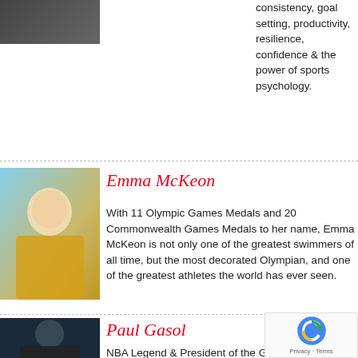[Figure (photo): Top partial photo of a previous speaker (cropped, dark tones)]
consistency, goal setting, productivity, resilience, confidence & the power of sports psychology.
[Figure (photo): Emma McKeon smiling, wearing yellow Australian team jacket, holding a gold medal, with blue background]
Emma McKeon
With 11 Olympic Games Medals and 20 Commonwealth Games Medals to her name, Emma McKeon is not only one of the greatest swimmers of all time, but the most decorated Olympian, and one of the greatest athletes the world has ever seen.
[Figure (photo): Paul Gasol headshot, dark background, wearing dark clothing]
Paul Gasol
NBA Legend & President of the Gasol Foundation